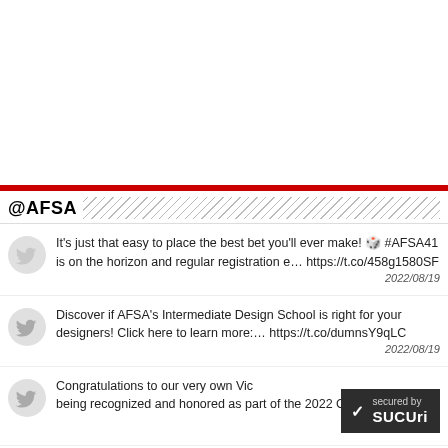@AFSA
It's just that easy to place the best bet you'll ever make! 🎲 #AFSA41 is on the horizon and regular registration e… https://t.co/458g1580SF 2022/08/19
Discover if AFSA's Intermediate Design School is right for your designers! Click here to learn more:… https://t.co/dumnsY9qLC 2022/08/19
Congratulations to our very own Vic… being recognized and honored as part of the 2022 Cl…